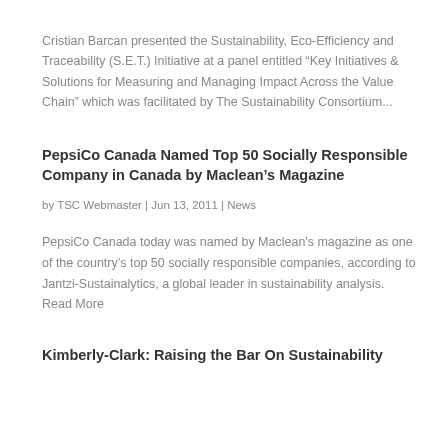Cristian Barcan presented the Sustainability, Eco-Efficiency and Traceability (S.E.T.) Initiative at a panel entitled “Key Initiatives & Solutions for Measuring and Managing Impact Across the Value Chain” which was facilitated by The Sustainability Consortium...
PepsiCo Canada Named Top 50 Socially Responsible Company in Canada by Maclean’s Magazine
by TSC Webmaster | Jun 13, 2011 | News
PepsiCo Canada today was named by Maclean's magazine as one of the country’s top 50 socially responsible companies, according to Jantzi-Sustainalytics, a global leader in sustainability analysis. Read More
Kimberly-Clark: Raising the Bar On Sustainability